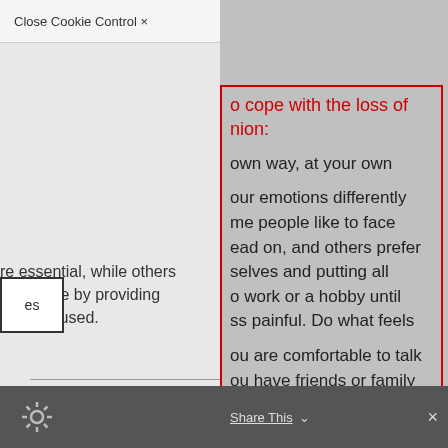Close Cookie Control ×
o cope with the loss of nion:
own way, at your own
re essential, while others xperience by providing is being used.
our emotions differently me people like to face ead on, and others prefer selves and putting all o work or a hobby until ss painful. Do what feels
es
ou are comfortable to talk ou have friends or family or a community of pet are This Talking about it out.
Share This ✓  ×